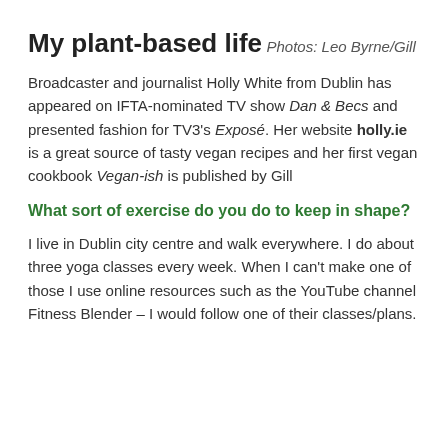My plant-based life
Photos: Leo Byrne/Gill
Broadcaster and journalist Holly White from Dublin has appeared on IFTA-nominated TV show Dan & Becs and presented fashion for TV3's Exposé. Her website holly.ie is a great source of tasty vegan recipes and her first vegan cookbook Vegan-ish is published by Gill
What sort of exercise do you do to keep in shape?
I live in Dublin city centre and walk everywhere. I do about three yoga classes every week. When I can't make one of those I use online resources such as the YouTube channel Fitness Blender – I would follow one of their classes/plans.